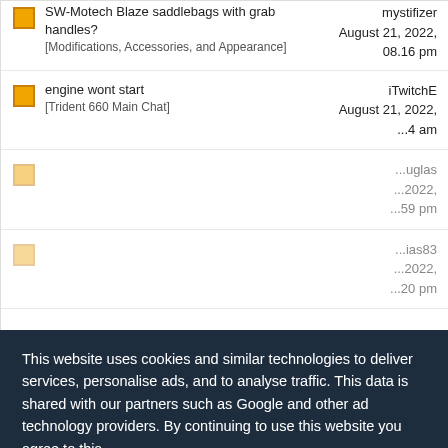SW-Motech Blaze saddlebags with grab handles? [Modifications, Accessories, and Appearance] — mystifizer, August 21, 2022, 08.16 pm
engine wont start [Trident 660 Main Chat] — iTwitchE, August 21, 2022, ...4 am
[partially visible row] — ...uglas, ...2022, ...59 pm
[partially visible row] — ...ias83, ...2022, ...20 pm
This website uses cookies and similar technologies to deliver services, personalise ads, and to analyse traffic. This data is shared with our partners such as Google and other ad technology providers. By continuing to use this website you agree to this.
View our Privacy and Cookie Policy
I Agree